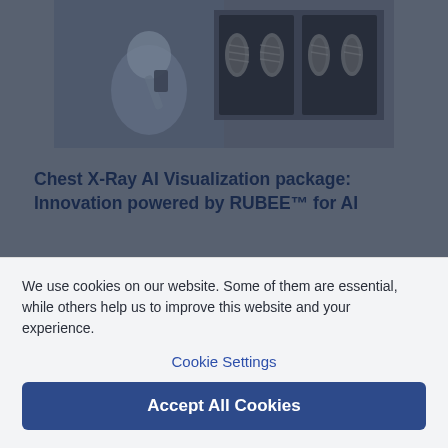[Figure (photo): A radiologist or clinician sitting at a workstation, holding a device, with chest X-ray images displayed on monitors behind them. The image appears in a dimmed/overlaid state as background content behind a cookie consent dialog.]
Chest X-Ray AI Visualization package: Innovation powered by RUBEE™ for AI
A leap forward for reading efficiency and fast results. RUBEE™ for AI brings carefully
We use cookies on our website. Some of them are essential, while others help us to improve this website and your experience.
Cookie Settings
Accept All Cookies